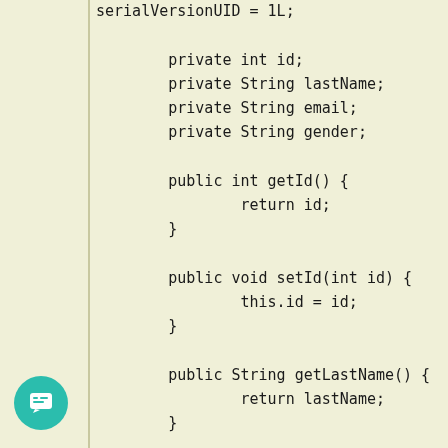serialVersionUID = 1L;

        private int id;
        private String lastName;
        private String email;
        private String gender;

        public int getId() {
                return id;
        }

        public void setId(int id) {
                this.id = id;
        }

        public String getLastName() {
                return lastName;
        }

        public void setLastName(String
lastName) {
                this.lastName =